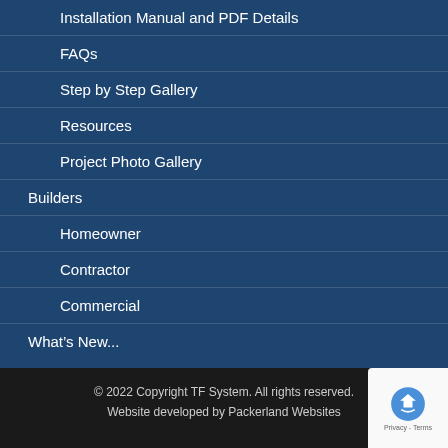Installation Manual and PDF Details
FAQs
Step by Step Gallery
Resources
Project Photo Gallery
Builders
Homeowner
Contractor
Commercial
What's New...
Contact Us
Installation Manual
© 2022 Copyright TF System. All rights reserved. Website developed by Packerland Websites